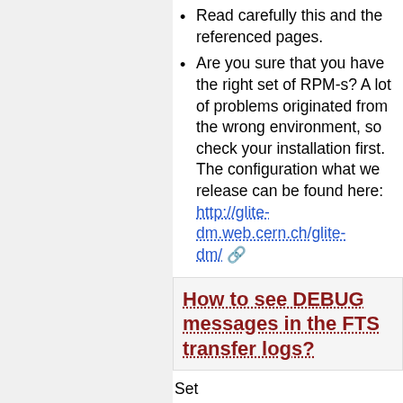Read carefully this and the referenced pages.
Are you sure that you have the right set of RPM-s? A lot of problems originated from the wrong environment, so check your installation first. The configuration what we release can be found here: http://glite-dm.web.cern.ch/glite-dm/
How to see DEBUG messages in the FTS transfer logs?
Set
FTA_TYPEDEFAULT_URLCOPY_LOG_PRIORI